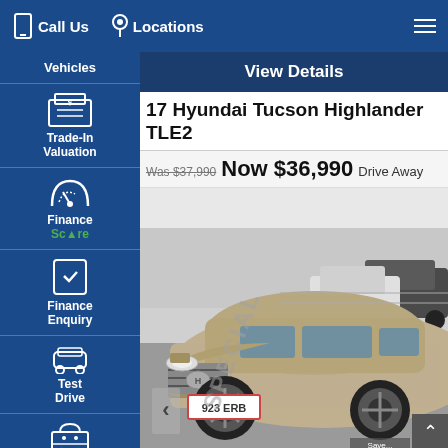Call Us   Locations
Vehicles
View Details
17 Hyundai Tucson Highlander TLE2
Was $37,990  Now $36,990  Drive Away
Trade-In Valuation
Finance Score
Finance Enquiry
Test Drive
Click To Buy
[Figure (photo): Silver Hyundai Tucson Highlander TLE2 parked in car yard, registration plate 923 ERB, with other vehicles visible in background]